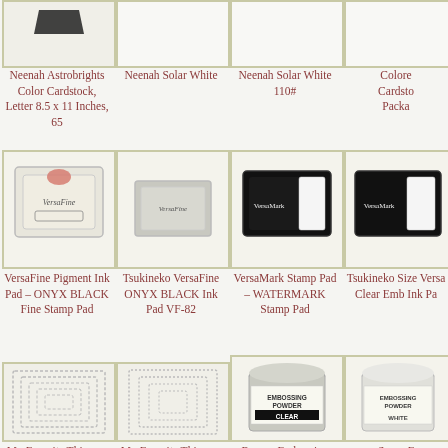[Figure (photo): Product image - Neenah Astrobrights Color Cardstock, Letter 8.5 x 11 Inches, 65]
Neenah Astrobrights Color Cardstock, Letter 8.5 x 11 Inches, 65
[Figure (photo): Product image - Neenah Solar White]
Neenah Solar White
[Figure (photo): Product image - Neenah Solar White 110#]
Neenah Solar White 110#
[Figure (photo): Product image - Colored Cardstock Package (partial)]
Colore Cardsto Packa
[Figure (photo): VersaFine Pigment Ink Pad - ONYX BLACK Fine Stamp Pad]
VersaFine Pigment Ink Pad – ONYX BLACK Fine Stamp Pad
[Figure (photo): Tsukineko VersaFine ONYX BLACK Ink Pad VF-82]
Tsukineko VersaFine ONYX BLACK Ink Pad VF-82
[Figure (photo): VersaMark Stamp Pad - WATERMARK Stamp Pad]
VersaMark Stamp Pad – WATERMARK Stamp Pad
[Figure (photo): Tsukineko Size VersaMark Clear Embossing Ink Pad (partial)]
Tsukineko Size Versa Clear Emb Ink Pa
[Figure (photo): My Favorite Things – Stitched rectangular dies]
My Favorite Things – Stitched
[Figure (photo): My Favorite Things – Inside rectangular dies]
My Favorite Things – Inside
[Figure (photo): Ranger Embossing Powder Clear]
Ranger Embossing
[Figure (photo): Super Fine White Embossing Powder (partial)]
Super F White